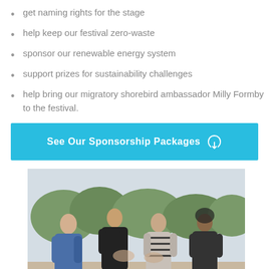get naming rights for the stage
help keep our festival zero-waste
sponsor our renewable energy system
support prizes for sustainability challenges
help bring our migratory shorebird ambassador Milly Formby to the festival.
See Our Sponsorship Packages
[Figure (photo): Four people outdoors clapping and interacting, trees in background, overcast sky. A teal/blue scroll-to-top button is visible in the bottom-right corner.]